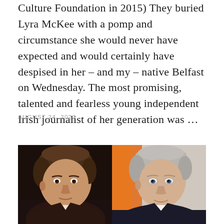Culture Foundation in 2015) They buried Lyra McKee with a pomp and circumstance she would never have expected and would certainly have despised in her – and my – native Belfast on Wednesday. The most promising, talented and fearless young independent Irish journalist of her generation was ...
AUGUST 24, 2022
[Figure (photo): Two side-by-side portrait photos: left shows a middle-aged man with brown hair against a dark background; right shows an older man with grey hair and glasses smiling against an orange/red background.]